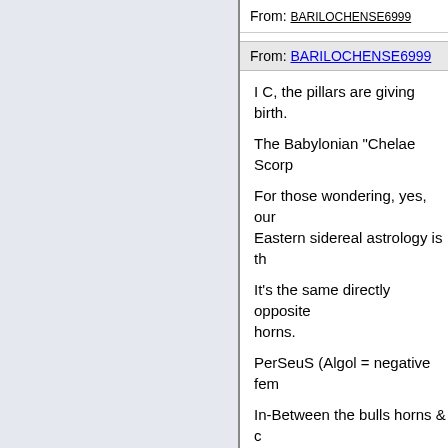From: BARILOCHENSE6999
From: BARILOCHENSE6999
I C, the pillars are giving birth.
The Babylonian "Chelae Scorp
For those wondering, yes, our Eastern sidereal astrology is th
It's the same directly opposite horns.
PerSeuS (Algol = negative fem
In-Between the bulls horns & c
The light bends with the the so 1 black hole in the east, 1 whi
There is a invisible white hole (at 9 on the major scale)
And that my friend is why Zube
Here is the BRANE of the ope